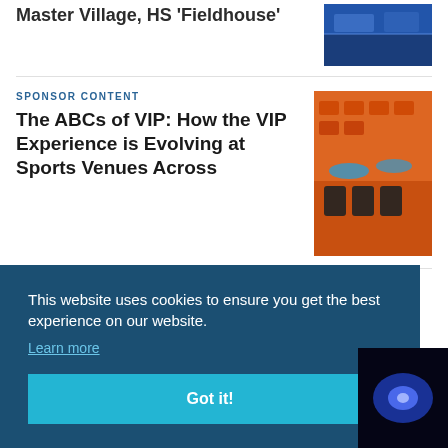Master Village, HS 'Fieldhouse'
[Figure (photo): Blue stadium seats photo thumbnail]
SPONSOR CONTENT
The ABCs of VIP: How the VIP Experience is Evolving at Sports Venues Across
[Figure (photo): Orange stadium with VIP chairs photo]
This website uses cookies to ensure you get the best experience on our website.
Learn more
Got it!
[Figure (photo): Partially visible dark blue lit photo at bottom right]